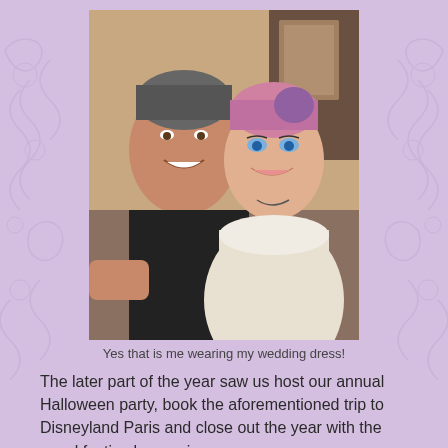[Figure (photo): A smiling couple taking a selfie. The man has dark grey hair and wears a black t-shirt. The woman has short pink/purple highlighted hair and blue eye makeup, wearing a white satin dress (wedding dress). Interior setting.]
Yes that is me wearing my wedding dress!
The later part of the year saw us host our annual Halloween party, book the aforementioned trip to Disneyland Paris and close out the year with the usual festive happenings.
So as the year draws to a close I can look forward happy in the knowledge that I have made the most of what 2014 had to offer and that 2015 is another year that will be filled with